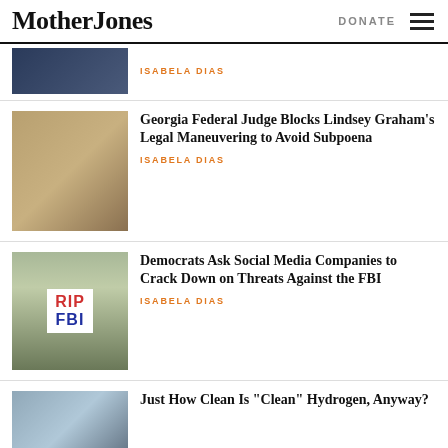Mother Jones | DONATE
ISABELA DIAS
Georgia Federal Judge Blocks Lindsey Graham’s Legal Maneuvering to Avoid Subpoena
ISABELA DIAS
Democrats Ask Social Media Companies to Crack Down on Threats Against the FBI
ISABELA DIAS
Just How Clean Is “Clean” Hydrogen, Anyway?